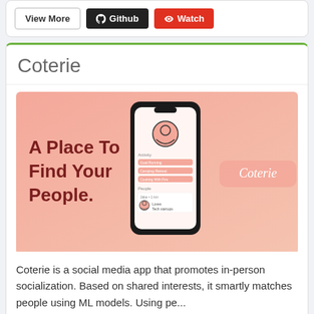[Figure (screenshot): Top card with View More, Github, and Watch buttons]
Coterie
[Figure (illustration): Coterie app promotional image with gradient pink background, smartphone mockup showing app interface, bold text 'A Place To Find Your People.' and Coterie branding pill on the right]
Coterie is a social media app that promotes in-person socialization. Based on shared interests, it smartly matches people using ML models. Using pe...